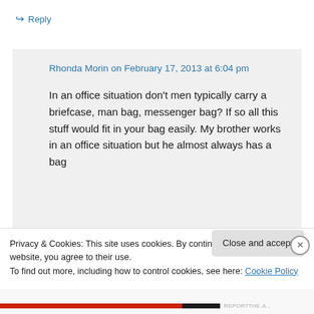↪ Reply
Rhonda Morin on February 17, 2013 at 6:04 pm
In an office situation don't men typically carry a briefcase, man bag, messenger bag? If so all this stuff would fit in your bag easily. My brother works in an office situation but he almost always has a bag
Privacy & Cookies: This site uses cookies. By continuing to use this website, you agree to their use.
To find out more, including how to control cookies, see here: Cookie Policy
Close and accept